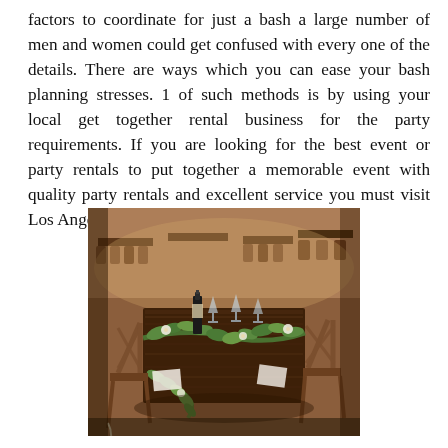factors to coordinate for just a bash a large number of men and women could get confused with every one of the details. There are ways which you can ease your bash planning stresses. 1 of such methods is by using your local get together rental business for the party requirements. If you are looking for the best event or party rentals to put together a memorable event with quality party rentals and excellent service you must visit Los Angeles Party Rental
[Figure (photo): A decorated event/party table setup with wooden farm tables, cross-back chairs, greenery garland runner, glassware, a wine bottle, and floral arrangements in a rustic venue setting.]